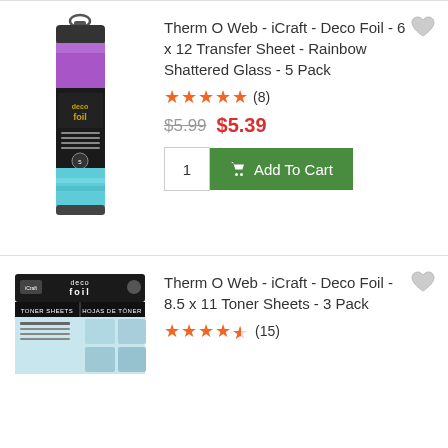[Figure (photo): iCraft Deco Foil 6x12 Transfer Sheet Rainbow Shattered Glass 5 Pack tube product image]
Therm O Web - iCraft - Deco Foil - 6 x 12 Transfer Sheet - Rainbow Shattered Glass - 5 Pack
★★★★★ (8)
$5.99  $5.39
1  Add To Cart
[Figure (photo): iCraft Deco Foil 8.5x11 Toner Sheets 3 Pack box product image]
Therm O Web - iCraft - Deco Foil - 8.5 x 11 Toner Sheets - 3 Pack
★★★★½ (15)